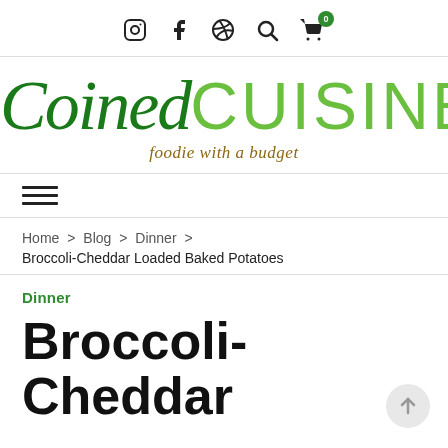Social media icons: Instagram, Facebook, Pinterest, Search, Cart (0)
[Figure (logo): Coined Cuisine logo with tagline 'foodie with a budget'. 'Coined' in dark green italic serif font, 'CUISINE' in light green sans-serif font.]
foodie with a budget
Hamburger navigation menu icon
Home > Blog > Dinner > Broccoli-Cheddar Loaded Baked Potatoes
Dinner
Broccoli-Cheddar